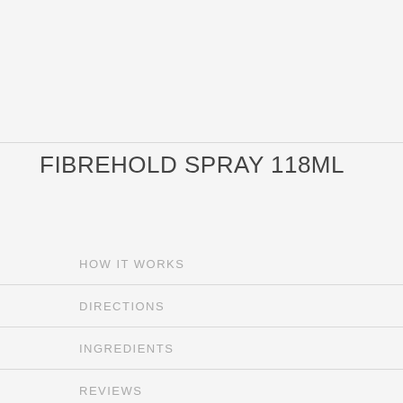FIBREHOLD SPRAY 118ML
HOW IT WORKS
DIRECTIONS
INGREDIENTS
REVIEWS